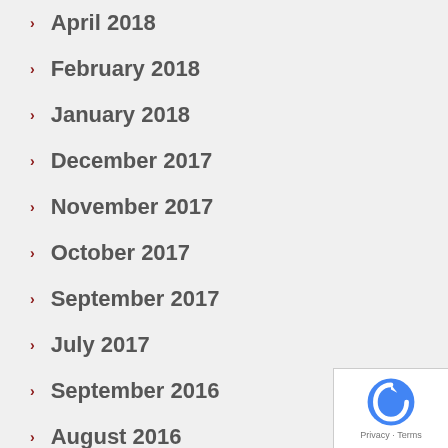April 2018
February 2018
January 2018
December 2017
November 2017
October 2017
September 2017
July 2017
September 2016
August 2016
July 2016
June 2016
May 2016
December 2015